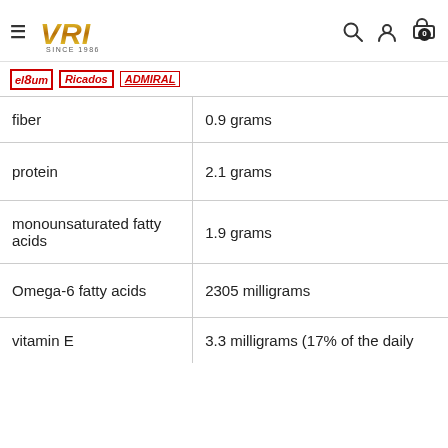VRI Since 1986 - navigation header with search, user, cart icons
[Figure (logo): Brand logos: el8um, Ricalos, ADMIRAL]
| Nutrient | Amount |
| --- | --- |
| fiber | 0.9 grams |
| protein | 2.1 grams |
| monounsaturated fatty acids | 1.9 grams |
| Omega-6 fatty acids | 2305 milligrams |
| vitamin E | 3.3 milligrams (17% of the daily |